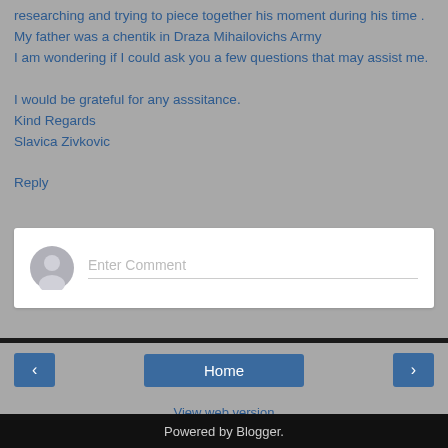researching and trying to piece together his moment during his time . My father was a chentik in Draza Mihailovichs Army I am wondering if I could ask you a few questions that may assist me.

I would be grateful for any asssitance.
Kind Regards
Slavica Zivkovic
Reply
[Figure (screenshot): Comment input box with avatar placeholder and Enter Comment placeholder text]
Home
View web version
Powered by Blogger.